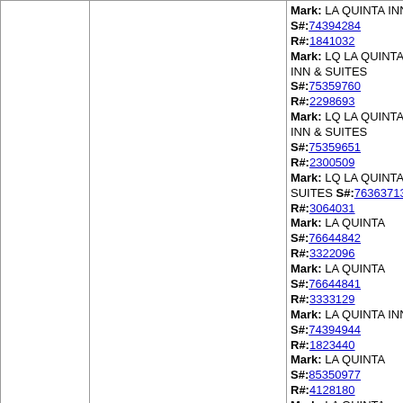|  |  | Mark: LA QUINTA INN S#:74394284 R#:1841032 Mark: LQ LA QUINTA INN & SUITES S#:75359760 R#:2298693 Mark: LQ LA QUINTA INN & SUITES S#:75359651 R#:2300509 Mark: LQ LA QUINTA SUITES S#:76363713 R#:3064031 Mark: LA QUINTA S#:76644842 R#:3322096 Mark: LA QUINTA S#:76644841 R#:3333129 Mark: LA QUINTA INN S#:74394944 R#:1823440 Mark: LA QUINTA S#:85350977 R#:4128180 Mark: LA QUINTA RETURNS S#:76443325 R#:2832831 Mark: LQ S#:76619694 R#:2969683 |
| 85860106 03/27/2014 | FUTURE PAYMENT TECHNOLOGIES, L.P. JASON R. FULMER GARDERE WYNNE SEWELL LLP Mark: FUTURE PAYTECH S#:85860106 | RevenueWire Inc. Michele S. Katz Advitam IP, LLC |